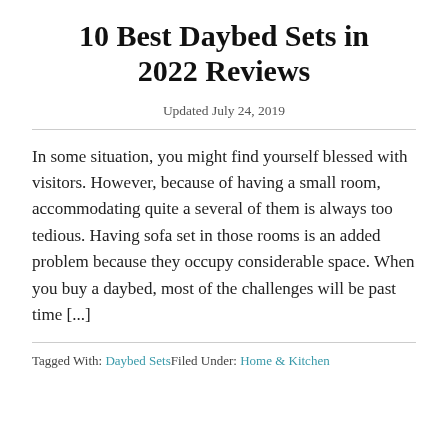10 Best Daybed Sets in 2022 Reviews
Updated July 24, 2019
In some situation, you might find yourself blessed with visitors. However, because of having a small room, accommodating quite a several of them is always too tedious. Having sofa set in those rooms is an added problem because they occupy considerable space. When you buy a daybed, most of the challenges will be past time [...]
Tagged With: Daybed SetsFiled Under: Home & Kitchen